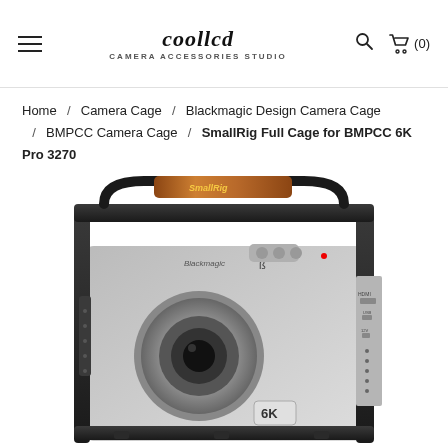coollcd — camera accessories store
Home / Camera Cage / Blackmagic Design Camera Cage / BMPCC Camera Cage / SmallRig Full Cage for BMPCC 6K Pro 3270
[Figure (photo): SmallRig Full Cage for BMPCC 6K Pro 3270 — black aluminum camera cage holding a Blackmagic Design BMPCC 6K camera, with a wood-grain top handle, visible HDMI and other ports on the right side panel, and 6K branding on the camera body.]